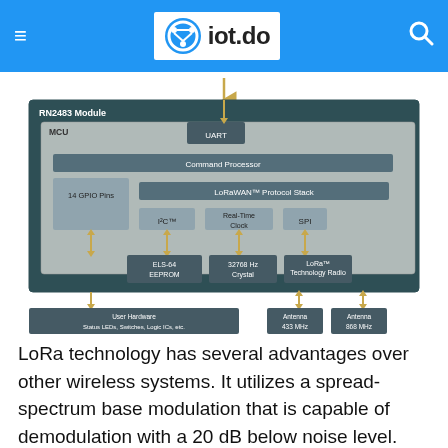iot.do
[Figure (schematic): Block diagram of the RN2483 Module showing MCU with UART, Command Processor, LoRaWAN Protocol Stack, 14 GPIO Pins, I2C, Real-Time Clock, SPI blocks. External connections to ELS-64 EEPROM, 32768 Hz Crystal, LoRa Technology Radio. Bottom connections to User Hardware (Status LEDs, Switches, Logic ICs, etc.), Antenna 433 MHz, and Antenna 868 MHz.]
LoRa technology has several advantages over other wireless systems. It utilizes a spread-spectrum base modulation that is capable of demodulation with a 20 dB below noise level. This enables high sensitivity with robust network links, improves